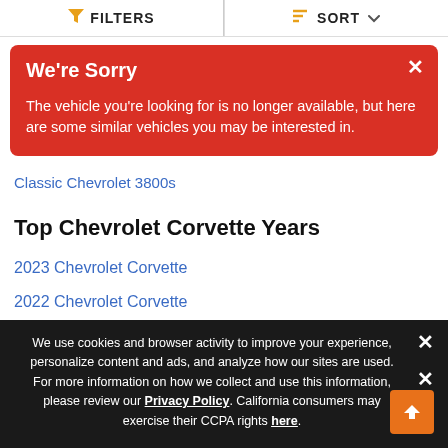FILTERS   SORT
We're Sorry
The vehicle you're looking for is no longer available, but here are some similar vehicles you may be interested in.
Classic Chevrolet 3800s
Top Chevrolet Corvette Years
2023 Chevrolet Corvette
2022 Chevrolet Corvette
2021 Chevrolet Corvette
2020 Chevrolet Corvette
We use cookies and browser activity to improve your experience, personalize content and ads, and analyze how our sites are used. For more information on how we collect and use this information, please review our Privacy Policy. California consumers may exercise their CCPA rights here.